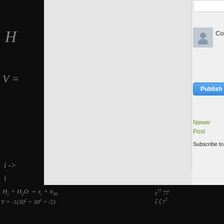[Figure (screenshot): Screenshot of a blog or CMS interface showing a dark blackboard background with handwritten physics/math equations on the left side, a light gray main content area in the center, and a sidebar on the right with a comment avatar placeholder, 'Comm...' label, a blue Publish button, 'Newer Post' link in olive/green, and 'Subscribe to: Post...' text. The bottom portion shows a dark blackboard with more handwritten equations.]